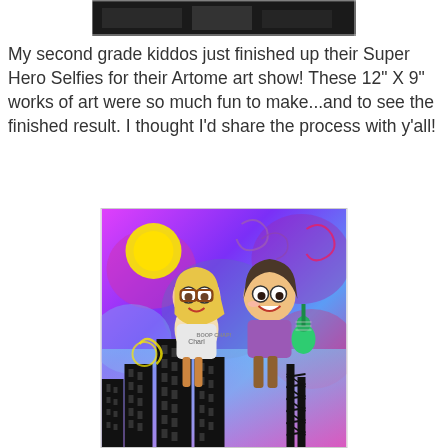[Figure (photo): Top partial image showing dark background, partially visible]
My second grade kiddos just finished up their Super Hero Selfies for their Artome art show! These 12" X 9" works of art were so much fun to make...and to see the finished result. I thought I'd share the process with y'all!
[Figure (photo): Children's colorful superhero artwork showing two cartoon child superhero characters flying above a city skyline silhouette, with bright pink, purple, blue and yellow watercolor background]